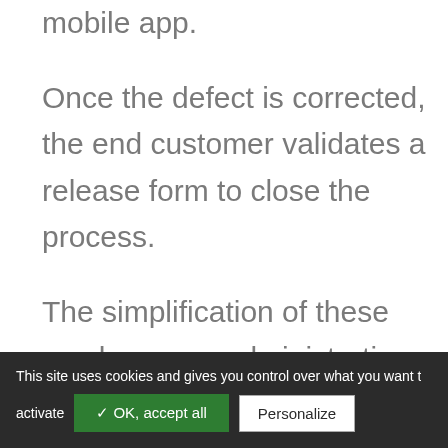mobile app.
Once the defect is corrected, the end customer validates a release form to close the process.
The simplification of these cumbersome administrative procedures after delivery saves time, expands your product offering and adds value to your business.
This site uses cookies and gives you control over what you want to activate ✓ OK, accept all Personalize